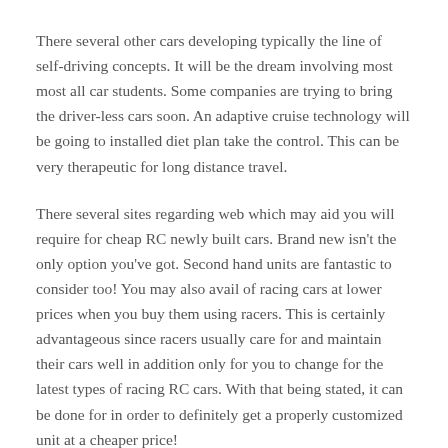There several other cars developing typically the line of self-driving concepts. It will be the dream involving most most all car students. Some companies are trying to bring the driver-less cars soon. An adaptive cruise technology will be going to installed diet plan take the control. This can be very therapeutic for long distance travel.
There several sites regarding web which may aid you will require for cheap RC newly built cars. Brand new isn't the only option you've got. Second hand units are fantastic to consider too! You may also avail of racing cars at lower prices when you buy them using racers. This is certainly advantageous since racers usually care for and maintain their cars well in addition only for you to change for the latest types of racing RC cars. With that being stated, it can be done for in order to definitely get a properly customized unit at a cheaper price!